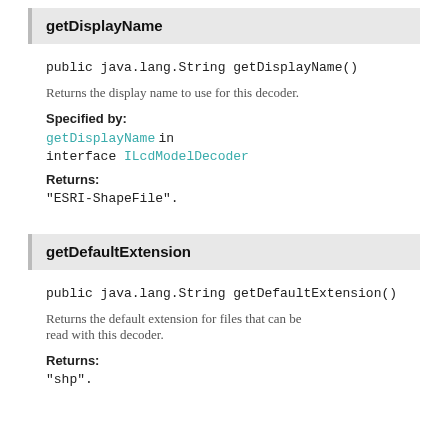getDisplayName
public java.lang.String getDisplayName()
Returns the display name to use for this decoder.
Specified by:
getDisplayName in interface ILcdModelDecoder
Returns:
"ESRI-ShapeFile".
getDefaultExtension
public java.lang.String getDefaultExtension()
Returns the default extension for files that can be read with this decoder.
Returns:
"shp".